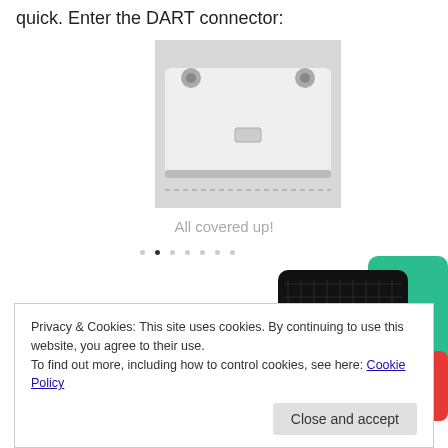quick. Enter the DART connector:
[Figure (photo): Photo of a white DART connector device, showing a rectangular white plastic housing with two small screws and a central slot.]
All covered up!
[Figure (illustration): Partial advertisement image with the text 'lovers.' in bold black and 'Download now' in red, alongside podcast app card images including 99% Invisible.]
Privacy & Cookies: This site uses cookies. By continuing to use this website, you agree to their use.
To find out more, including how to control cookies, see here: Cookie Policy